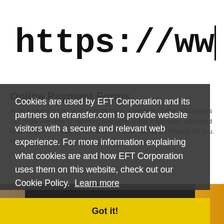[Figure (screenshot): Browser address bar showing 'https://www' with a blinking cursor, on white background]
Online Payment Forms
Accept payments on your website using customized forms. Customers can make one-time or recurring payments using credit card, debit card or EFT/ACH. It's easy to use, and we handle all the technology for you. More services...
[Figure (photo): Partial photo strip at the bottom of the page, dark background with yellow/orange tones on the right]
Cookies are used by EFT Corporation and its partners on etransfer.com to provide website visitors with a secure and relevant web experience. For more information explaining what cookies are and how EFT Corporation uses them on this website, check out our Cookie Policy.  Learn more
Got it!